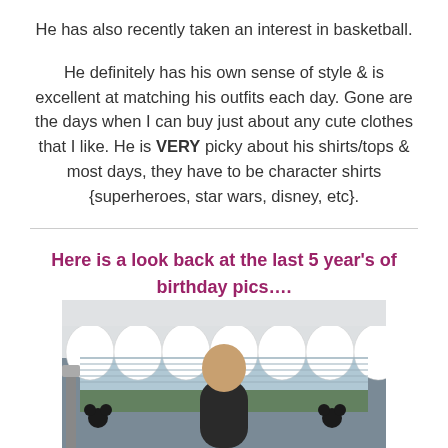He has also recently taken an interest in basketball.
He definitely has his own sense of style & is excellent at matching his outfits each day. Gone are the days when I can buy just about any cute clothes that I like. He is VERY picky about his shirts/tops & most days, they have to be character shirts {superheroes, star wars, disney, etc}.
Here is a look back at the last 5 year's of birthday pics….
[Figure (photo): A child standing in a room with a white scalloped curtain valance over a window. Mickey Mouse silhouettes are visible on the curtain. Greenery is visible through the window.]